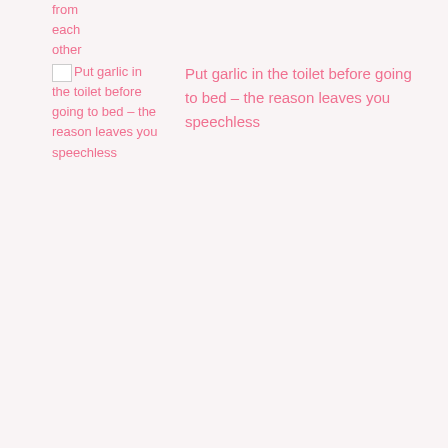from each other
Put garlic in the toilet before going to bed – the reason leaves you speechless
Put garlic in the toilet before going to bed – the reason leaves you speechless